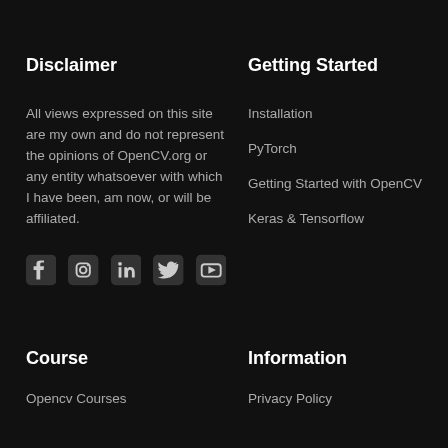Disclaimer
All views expressed on this site are my own and do not represent the opinions of OpenCV.org or any entity whatsoever with which I have been, am now, or will be affiliated.
[Figure (other): Social media icons: Facebook, Instagram, LinkedIn, Twitter, YouTube]
Getting Started
Installation
PyTorch
Getting Started with OpenCV
Keras & Tensorflow
Course
Opencv Courses
Information
Privacy Policy